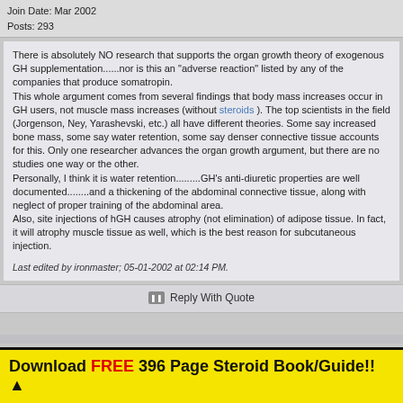Join Date:  Mar 2002
Posts:  293
There is absolutely NO research that supports the organ growth theory of exogenous GH supplementation......nor is this an "adverse reaction" listed by any of the companies that produce somatropin.
This whole argument comes from several findings that body mass increases occur in GH users, not muscle mass increases (without steroids ). The top scientists in the field (Jorgenson, Ney, Yarashevski, etc.) all have different theories. Some say increased bone mass, some say water retention, some say denser connective tissue accounts for this. Only one researcher advances the organ growth argument, but there are no studies one way or the other.
Personally, I think it is water retention.........GH's anti-diuretic properties are well documented........and a thickening of the abdominal connective tissue, along with neglect of proper training of the abdominal area.
Also, site injections of hGH causes atrophy (not elimination) of adipose tissue. In fact, it will atrophy muscle tissue as well, which is the best reason for subcutaneous injection.
Last edited by ironmaster; 05-01-2002 at 02:14 PM.
Reply With Quote
Download FREE 396 Page Steroid Book/Guide!! ▲